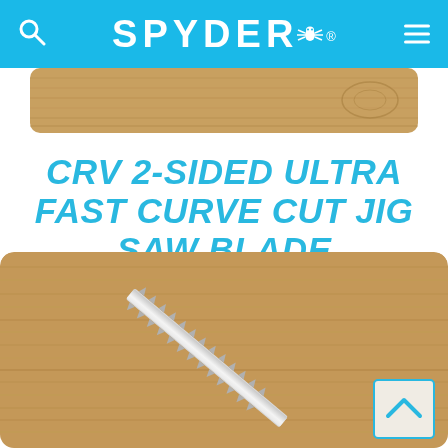SPYDER
[Figure (photo): Partial top view of a wood board, cropped at the top of the page]
CRV 2-SIDED ULTRA FAST CURVE CUT JIG SAW BLADE
[Figure (photo): A jig saw blade lying diagonally on a wooden board surface, showing two-sided teeth along the blade. A scroll-to-top button with a blue upward chevron is in the bottom-right corner.]